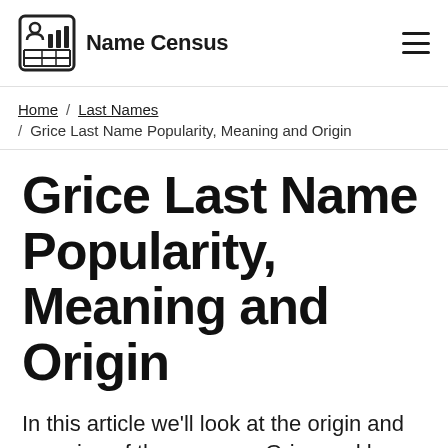Name Census
Home / Last Names / Grice Last Name Popularity, Meaning and Origin
Grice Last Name Popularity, Meaning and Origin
In this article we'll look at the origin and meaning of the surname Grice and how popular it is in the United States. We'll